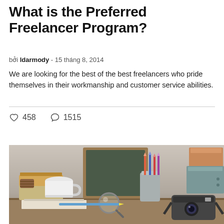What is the Preferred Freelancer Program?
bởi ldarmody - 15 tháng 8, 2014
We are looking for the best of the best freelancers who pride themselves in their workmanship and customer service abilities.
♡ 458   ○ 1515
[Figure (photo): A styled flat-lay desk scene featuring a chalkboard, teacup, stack of books, pencil holder with colored pencils, a magnifying glass, a retro camera, and orange/teal boxes, all arranged on a wooden surface with muted vintage tones.]